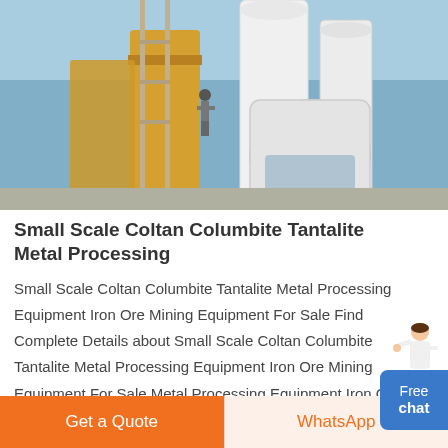[Figure (photo): Industrial mining/processing equipment — large white cylindrical mills and yellow silos with a worker on scaffolding, blue sky background]
Small Scale Coltan Columbite Tantalite Metal Processing
Small Scale Coltan Columbite Tantalite Metal Processing Equipment Iron Ore Mining Equipment For Sale Find Complete Details about Small Scale Coltan Columbite Tantalite Metal Processing Equipment Iron Ore Mining Equipment For Sale Metal Processing Equipment Iron Ore Mining Equipment Small Metal Processing Equipment from Other
Free chat
Get a Quote
WhatsApp